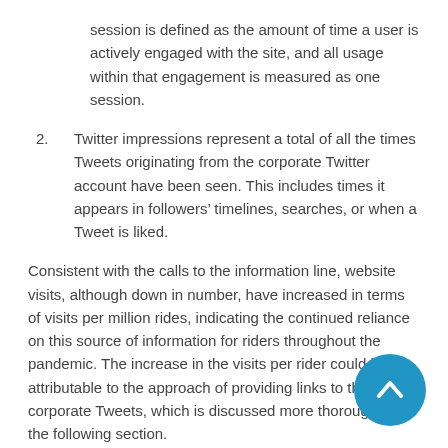session is defined as the amount of time a user is actively engaged with the site, and all usage within that engagement is measured as one session.
2. Twitter impressions represent a total of all the times Tweets originating from the corporate Twitter account have been seen. This includes times it appears in followers' timelines, searches, or when a Tweet is liked.
Consistent with the calls to the information line, website visits, although down in number, have increased in terms of visits per million rides, indicating the continued reliance on this source of information for riders throughout the pandemic. The increase in the visits per rider could be attributable to the approach of providing links to the site in corporate Tweets, which is discussed more thoroughly in the following section.